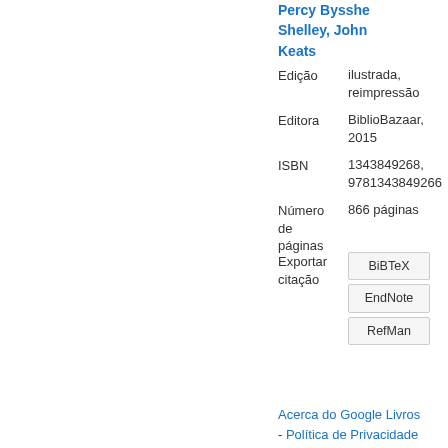Percy Bysshe Shelley, John Keats
| Edição | ilustrada, reimpressão |
| Editora | BiblioBazaar, 2015 |
| ISBN | 1343849268, 9781343849266 |
| Número de páginas | 866 páginas |
Exportar citação: BiBTeX, EndNote, RefMan
Acerca do Google Livros - Política de Privacidade